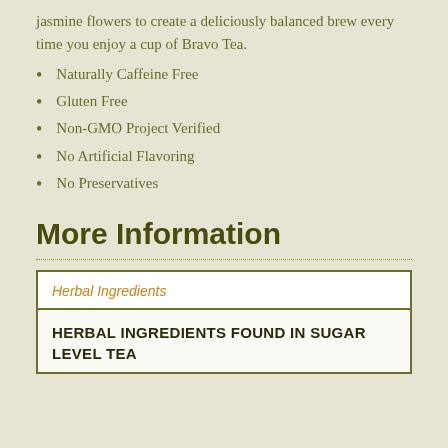jasmine flowers to create a deliciously balanced brew every time you enjoy a cup of Bravo Tea.
Naturally Caffeine Free
Gluten Free
Non-GMO Project Verified
No Artificial Flavoring
No Preservatives
More Information
| Herbal Ingredients |
| --- |
| HERBAL INGREDIENTS FOUND IN SUGAR LEVEL TEA |